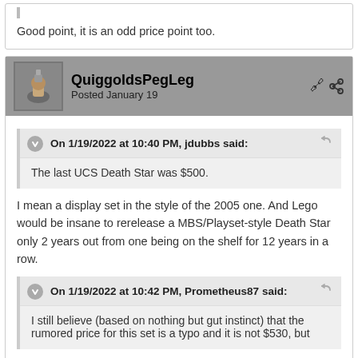Good point, it is an odd price point too.
QuiggoldsPegLeg
Posted January 19
On 1/19/2022 at 10:40 PM, jdubbs said:
The last UCS Death Star was $500.
I mean a display set in the style of the 2005 one. And Lego would be insane to rerelease a MBS/Playset-style Death Star only 2 years out from one being on the shelf for 12 years in a row.
On 1/19/2022 at 10:42 PM, Prometheus87 said:
I still believe (based on nothing but gut instinct) that the rumored price for this set is a typo and it is not $530, but